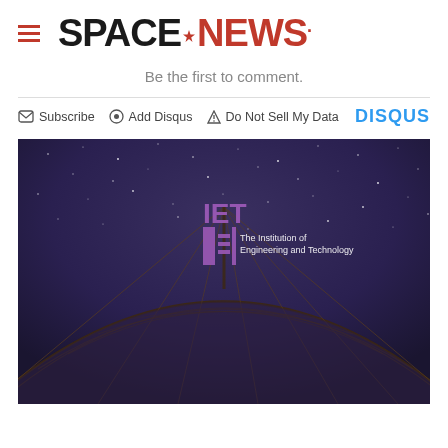SPACENEWS
Be the first to comment.
Subscribe  Add Disqus  Do Not Sell My Data  DISQUS
[Figure (photo): IET (The Institution of Engineering and Technology) branded image showing a large satellite dish against a dark starry night sky background]